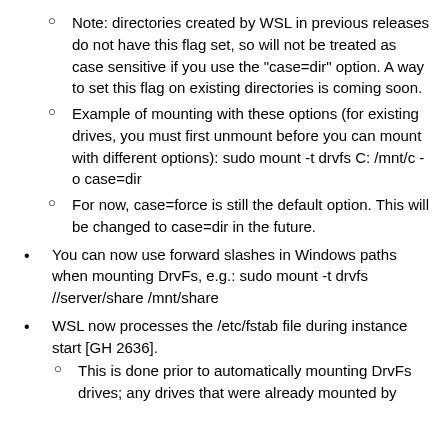Note: directories created by WSL in previous releases do not have this flag set, so will not be treated as case sensitive if you use the "case=dir" option. A way to set this flag on existing directories is coming soon.
Example of mounting with these options (for existing drives, you must first unmount before you can mount with different options): sudo mount -t drvfs C: /mnt/c -o case=dir
For now, case=force is still the default option. This will be changed to case=dir in the future.
You can now use forward slashes in Windows paths when mounting DrvFs, e.g.: sudo mount -t drvfs //server/share /mnt/share
WSL now processes the /etc/fstab file during instance start [GH 2636].
This is done prior to automatically mounting DrvFs drives; any drives that were already mounted by